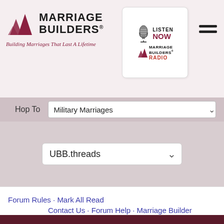[Figure (logo): Marriage Builders logo with triangle arrows and text 'Building Marriages That Last A Lifetime' in italic]
[Figure (logo): Marriage Builders Radio box with microphone icon and 'Listen Now' text]
[Figure (other): Hamburger menu icon (two horizontal lines)]
Hop To   Military Marriages
UBB.threads
Forum Rules · Mark All Read
Contact Us · Forum Help · Marriage Builder
[Figure (logo): Marriage Builders white logo on dark maroon footer background]